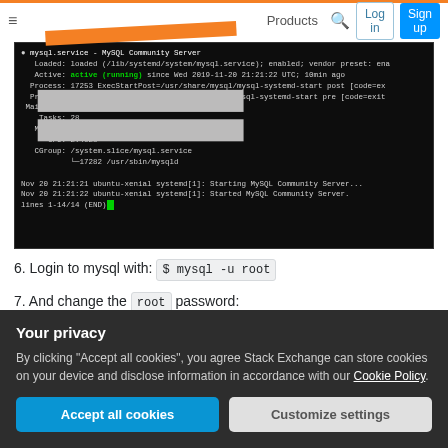Products | Log in | Sign up
[Figure (screenshot): Terminal output showing mysql.service - MySQL Community Server status with active (running) state, process IDs, memory/CPU info, and startup log messages ending with 'lines 1-14/14 (END)']
6. Login to mysql with: $ mysql -u root
7. And change the root password:
mysql> FLUSH PRIVILEGES;
Your privacy - By clicking "Accept all cookies", you agree Stack Exchange can store cookies on your device and disclose information in accordance with our Cookie Policy.
changes by removing skip_grant_tables line